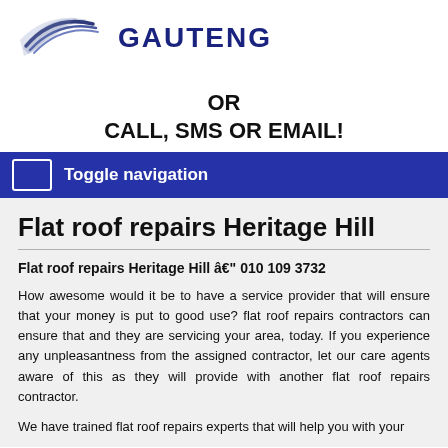[Figure (logo): Stylized curved lines logo in blue/dark blue tones, partially visible at top left]
GAUTENG
OR
CALL, SMS OR EMAIL!
Toggle navigation
Flat roof repairs Heritage Hill
Flat roof repairs Heritage Hill â€" 010 109 3732
How awesome would it be to have a service provider that will ensure that your money is put to good use? flat roof repairs contractors can ensure that and they are servicing your area, today. If you experience any unpleasantness from the assigned contractor, let our care agents aware of this as they will provide with another flat roof repairs contractor.
We have trained flat roof repairs experts that will help you with your